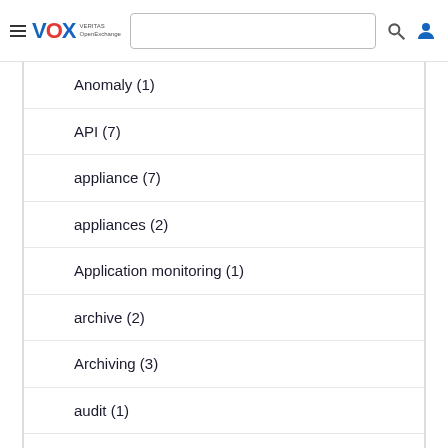VOX VERITAS OpenExchange
Anomaly (1)
API (7)
appliance (7)
appliances (2)
Application monitoring (1)
archive (2)
Archiving (3)
audit (1)
Audit Trails (1)